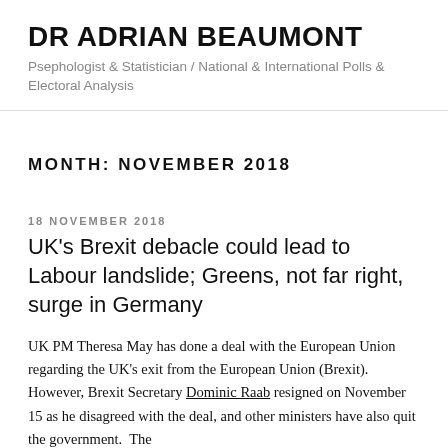DR ADRIAN BEAUMONT
Psephologist & Statistician / National & International Polls & Electoral Analysis
MONTH: NOVEMBER 2018
18 NOVEMBER 2018
UK's Brexit debacle could lead to Labour landslide; Greens, not far right, surge in Germany
UK PM Theresa May has done a deal with the European Union regarding the UK's exit from the European Union (Brexit).  However, Brexit Secretary Dominic Raab resigned on November 15 as he disagreed with the deal, and other ministers have also quit the government.  The